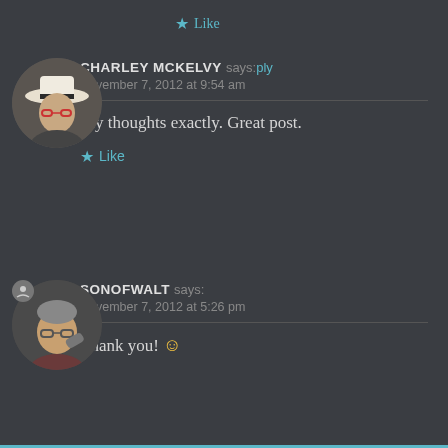★ Like
CHARLEY MCKELVY says: Reply
November 7, 2012 at 9:54 am
My thoughts exactly. Great post.
★ Like
[Figure (photo): Round profile photo of Charley McKelvy wearing a white hat and red-framed glasses]
SONOFWALT says:
November 7, 2012 at 5:26 pm
Thank you! 🙂
[Figure (photo): Round profile photo of Sonofwalt, man with glasses, with a person icon badge overlay]